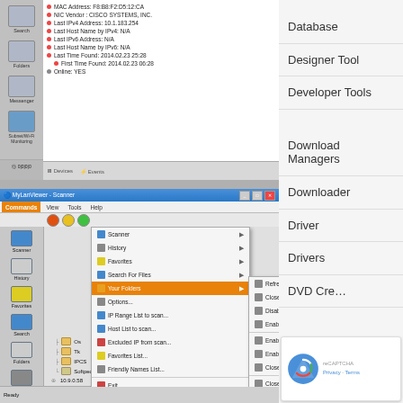[Figure (screenshot): MyLanViewer network scanner application showing device details with MAC address, NIC vendor (CISCO SYSTEMS INC), IPv4 address 10.1.183.254, time found 2014.02.23, and Devices/Events tabs at bottom]
Database
Designer Tool
Developer Tools
[Figure (screenshot): MyLanViewer Scanner window showing Commands menu open with submenu items including Scanner, History, Favorites, Search For Files, Your Folders (highlighted in orange), Options, IP Range List to scan, Host List to scan, Excluded IP from scan, Favorites List, Friendly Names List, Exit. Submenu shows: Refresh Shared Folders, Close All Sessions, Disable All Resources, Enable All Resources, Enable All Sessions, Enable Only From White-List, Close Only From Black-List, Close All Sessions. Tree shows folders: Os, Tk, IPCS, Softpedia and network items 10.9.0.58, 10.9.0.60 SoftpediaTeam, 10.9.0.61 Softpedia-d61, 10.9.0.62, 10.9.0.63]
Download Managers
Downloader
Driver
Drivers
DVD Cre…